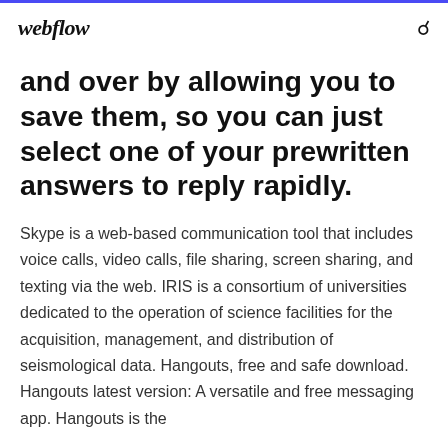webflow
and over by allowing you to save them, so you can just select one of your prewritten answers to reply rapidly.
Skype is a web-based communication tool that includes voice calls, video calls, file sharing, screen sharing, and texting via the web. IRIS is a consortium of universities dedicated to the operation of science facilities for the acquisition, management, and distribution of seismological data. Hangouts, free and safe download. Hangouts latest version: A versatile and free messaging app. Hangouts is the